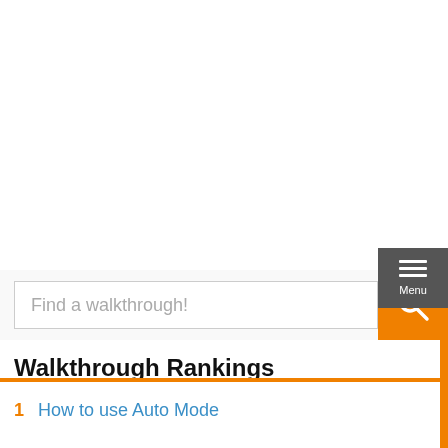[Figure (screenshot): Search box with placeholder text 'Find a walkthrough!' and orange search icon button, with a dark grey hamburger menu button labeled 'Menu' in top right corner]
Walkthrough Rankings
1  How to use Auto Mode